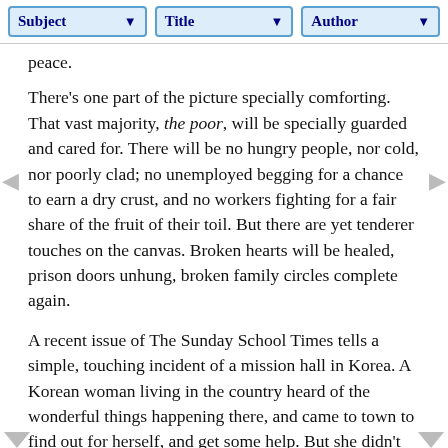Subject | Title | Author
peace.
There's one part of the picture specially comforting. That vast majority, the poor, will be specially guarded and cared for. There will be no hungry people, nor cold, nor poorly clad; no unemployed begging for a chance to earn a dry crust, and no workers fighting for a fair share of the fruit of their toil. But there are yet tenderer touches on the canvas. Broken hearts will be healed, prison doors unhung, broken family circles complete again.
A recent issue of The Sunday School Times tells a simple, touching incident of a mission hall in Korea. A Korean woman living in the country heard of the wonderful things happening there, and came to town to find out for herself, and get some help. But she didn't know where the hall was, nor what name